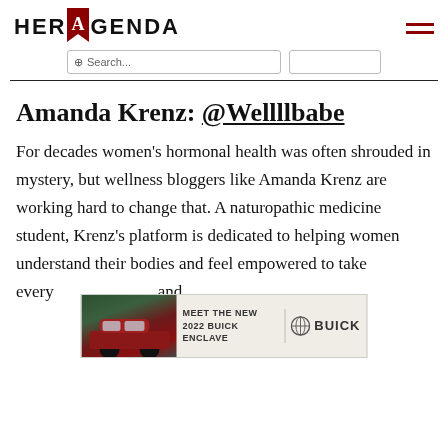HER AGENDA
Amanda Krenz: @Wellllbabe
For decades women's hormonal health was often shrouded in mystery, but wellness bloggers like Amanda Krenz are working hard to change that. A naturopathic medicine student, Krenz's platform is dedicated to helping women understand their bodies and feel empowered to take every and
[Figure (photo): Advertisement overlay showing a 2022 Buick Enclave SUV in red with text 'MEET THE NEW 2022 BUICK ENCLAVE' and Buick logo]